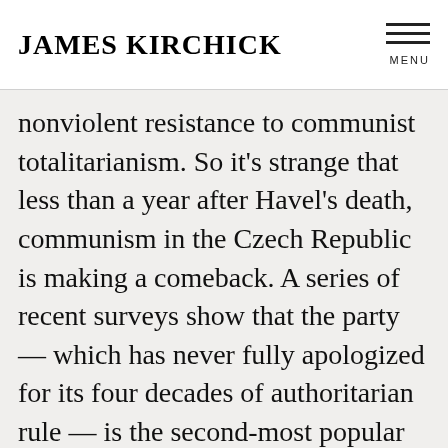JAMES KIRCHICK
nonviolent resistance to communist totalitarianism. So it’s strange that less than a year after Havel’s death, communism in the Czech Republic is making a comeback. A series of recent surveys show that the party — which has never fully apologized for its four decades of authoritarian rule — is the second-most popular in the country, its support hovering slightly above 20 percent. The next parliamentary elections,